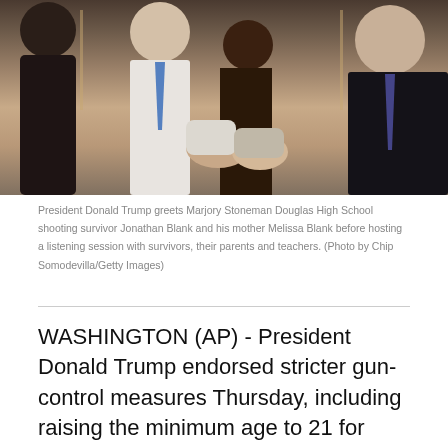[Figure (photo): President Donald Trump shaking hands with a young man (Jonathan Blank), with a woman visible in the background and another person on the far right, in what appears to be the White House.]
President Donald Trump greets Marjory Stoneman Douglas High School shooting survivor Jonathan Blank and his mother Melissa Blank before hosting a listening session with survivors, their parents and teachers. (Photo by Chip Somodevilla/Getty Images)
WASHINGTON (AP) - President Donald Trump endorsed stricter gun-control measures Thursday, including raising the minimum age to 21 for possessing a broader range of weapons than at present. He tweeted his strongest stance as president one day after an emotional White House session where students and parents poured out wrenching tales of lost lives and pleaded for action.